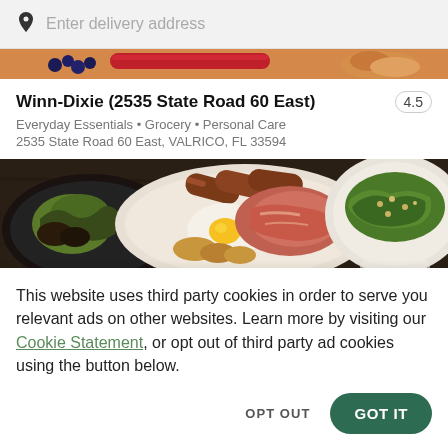Enter delivery address
[Figure (photo): Partial view of food items — blueberries, red cylinder, and baked goods visible as a narrow strip]
Winn-Dixie (2535 State Road 60 East)
4.5
Everyday Essentials • Grocery • Personal Care
2535 State Road 60 East, VALRICO, FL 33594
[Figure (photo): Food photo showing plates with sausages, fried eggs, bacon, potatoes, and a green salad on a dark wooden table]
This website uses third party cookies in order to serve you relevant ads on other websites. Learn more by visiting our Cookie Statement, or opt out of third party ad cookies using the button below.